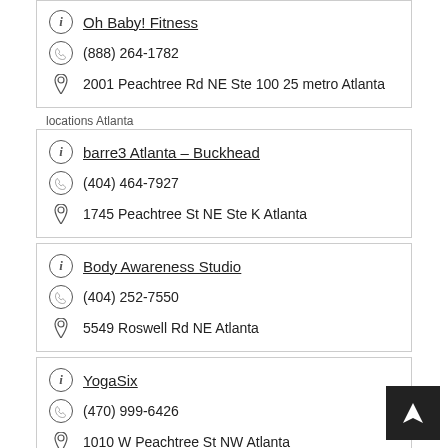Oh Baby! Fitness
(888) 264-1782
2001 Peachtree Rd NE Ste 100 25 metro Atlanta
locations Atlanta
barre3 Atlanta – Buckhead
(404) 464-7927
1745 Peachtree St NE Ste K Atlanta
Body Awareness Studio
(404) 252-7550
5549 Roswell Rd NE Atlanta
YogaSix
(470) 999-6426
1010 W Peachtree St NW Atlanta
Decatur Yoga and Pilates
(404) 377-4899
2570 Blackmon Dr Ste 400 Decatur
Just Breathe Yoga Center